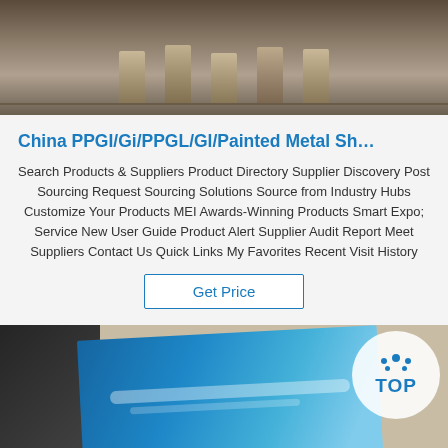[Figure (photo): Top image showing metal bars/ingots arranged on a floor surface]
China PPGI/Gi/PPGL/Gl/Painted Metal Sh…
Search Products & Suppliers Product Directory Supplier Discovery Post Sourcing Request Sourcing Solutions Source from Industry Hubs Customize Your Products MEI Awards-Winning Products Smart Expo; Service New User Guide Product Alert Supplier Audit Report Meet Suppliers Contact Us Quick Links My Favorites Recent Visit History
[Figure (other): Get Price button]
[Figure (photo): Bottom image showing blue painted metal sheet with TOP logo watermark in the corner]